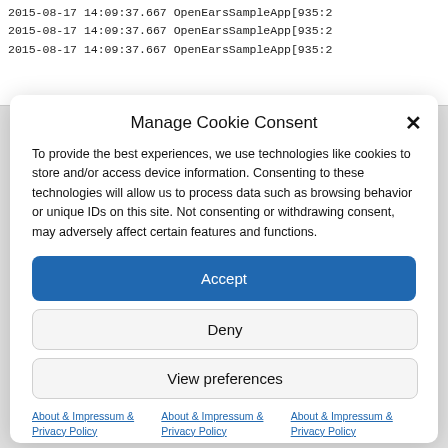2015-08-17 14:09:37.667 OpenEarsSampleApp[935:2...
2015-08-17 14:09:37.667 OpenEarsSampleApp[935:2...
2015-08-17 14:09:37.667 OpenEarsSampleApp[935:2...
Manage Cookie Consent
To provide the best experiences, we use technologies like cookies to store and/or access device information. Consenting to these technologies will allow us to process data such as browsing behavior or unique IDs on this site. Not consenting or withdrawing consent, may adversely affect certain features and functions.
Accept
Deny
View preferences
About & Impressum & Privacy Policy
About & Impressum & Privacy Policy
About & Impressum & Privacy Policy